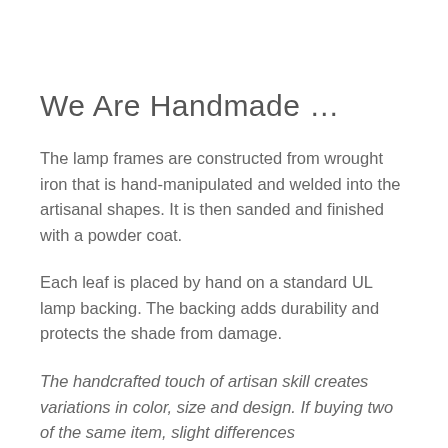We Are Handmade …
The lamp frames are constructed from wrought iron that is hand-manipulated and welded into the artisanal shapes. It is then sanded and finished with a powder coat.
Each leaf is placed by hand on a standard UL lamp backing. The backing adds durability and protects the shade from damage.
The handcrafted touch of artisan skill creates variations in color, size and design. If buying two of the same item, slight differences…